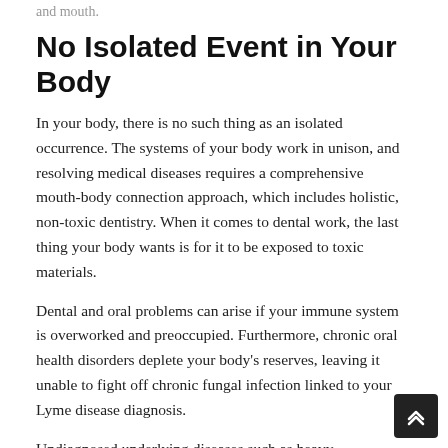and mouth.
No Isolated Event in Your Body
In your body, there is no such thing as an isolated occurrence. The systems of your body work in unison, and resolving medical diseases requires a comprehensive mouth-body connection approach, which includes holistic, non-toxic dentistry. When it comes to dental work, the last thing your body wants is for it to be exposed to toxic materials.
Dental and oral problems can arise if your immune system is overworked and preoccupied. Furthermore, chronic oral health disorders deplete your body's reserves, leaving it unable to fight off chronic fungal infection linked to your Lyme disease diagnosis.
Undiagnosed underlying diseases such as heavy